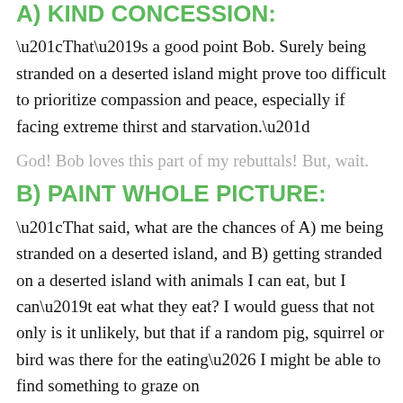A) KIND CONCESSION:
“That’s a good point Bob. Surely being stranded on a deserted island might prove too difficult to prioritize compassion and peace, especially if facing extreme thirst and starvation.”
God! Bob loves this part of my rebuttals! But, wait.
B) PAINT WHOLE PICTURE:
“That said, what are the chances of A) me being stranded on a deserted island, and B) getting stranded on a deserted island with animals I can eat, but I can’t eat what they eat? I would guess that not only is it unlikely, but that if a random pig, squirrel or bird was there for the eating… I might be able to find something to graze on